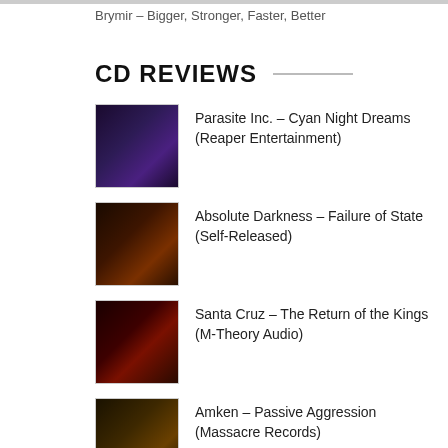Brymir – Bigger, Stronger, Faster, Better
CD REVIEWS
Parasite Inc. – Cyan Night Dreams (Reaper Entertainment)
Absolute Darkness – Failure of State (Self-Released)
Santa Cruz – The Return of the Kings (M-Theory Audio)
Amken – Passive Aggression (Massacre Records)